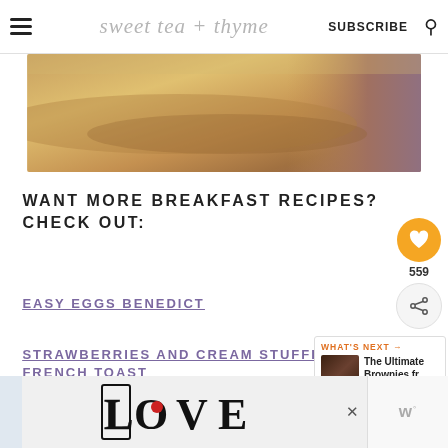sweet tea + thyme | SUBSCRIBE
[Figure (photo): Close-up food photo showing golden brown pancakes or French toast with syrup, warm tones]
WANT MORE BREAKFAST RECIPES? CHECK OUT:
EASY EGGS BENEDICT
STRAWBERRIES AND CREAM STUFFED FRENCH TOAST
[Figure (photo): Decorative LOVE text with ornate black and white lettering and a red heart accent, advertisement]
[Figure (other): What's Next widget showing The Ultimate Brownies thumbnail with orange label]